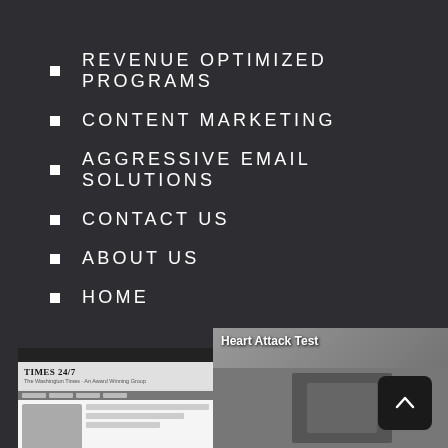REVENUE OPTIMIZED PROGRAMS
CONTENT MARKETING
AGGRESSIVE EMAIL SOLUTIONS
CONTACT US
ABOUT US
HOME
[Figure (screenshot): Screenshot thumbnails at the bottom of the page: Times 24/7 website, Heart Attack Test article, Tea Party Congressional Gun Warning book cover, and a back-to-top arrow button]